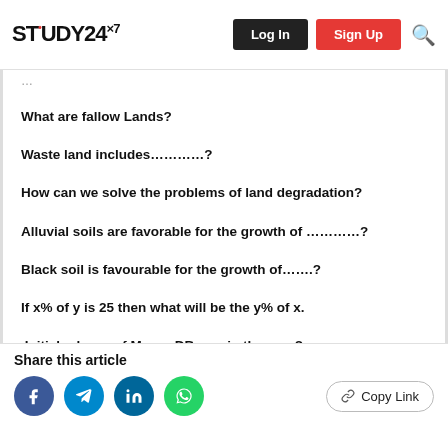STUDY24×7 | Log In | Sign Up
What are fallow Lands?
Waste land includes…………?
How can we solve the problems of land degradation?
Alluvial soils are favorable for the growth of …………?
Black soil is favourable for the growth of…….?
If x% of y is 25 then what will be the y% of x.
Initial release of MongoDB was in the year?
Share this article